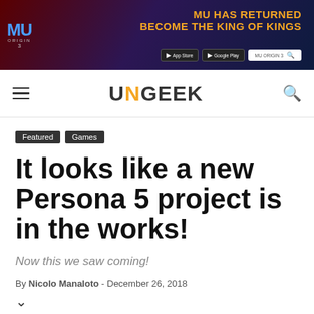[Figure (other): MU Origin 3 advertisement banner with orange text 'MU HAS RETURNED BECOME THE KING OF KINGS' on a dark fantasy background with game imagery, App Store and Google Play buttons]
UNGEEK navigation bar with hamburger menu and search icon
Featured
Games
It looks like a new Persona 5 project is in the works!
Now this we saw coming!
By Nicolo Manaloto  -  December 26, 2018